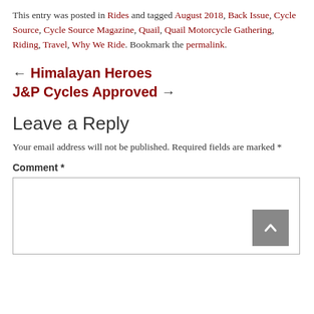This entry was posted in Rides and tagged August 2018, Back Issue, Cycle Source, Cycle Source Magazine, Quail, Quail Motorcycle Gathering, Riding, Travel, Why We Ride. Bookmark the permalink.
← Himalayan Heroes
J&P Cycles Approved →
Leave a Reply
Your email address will not be published. Required fields are marked *
Comment *